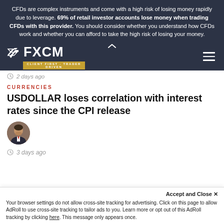CFDs are complex instruments and come with a high risk of losing money rapidly due to leverage. 69% of retail investor accounts lose money when trading CFDs with this provider. You should consider whether you understand how CFDs work and whether you can afford to take the high risk of losing your money.
[Figure (logo): FXCM logo with tagline CLIENT FIRST · TRADER DRIVEN]
2 days ago
CURRENCIES
USDOLLAR loses correlation with interest rates since the CPI release
[Figure (photo): Author avatar - man in suit]
3 days ago
Accept and Close ×
Your browser settings do not allow cross-site tracking for advertising. Click on this page to allow AdRoll to use cross-site tracking to tailor ads to you. Learn more or opt out of this AdRoll tracking by clicking here. This message only appears once.